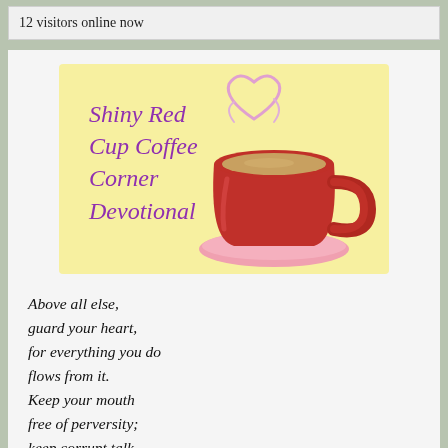12 visitors online now
[Figure (illustration): Shiny Red Cup Coffee Corner Devotional logo with a red coffee cup on a pink saucer, steam rising in a heart shape, on a yellow background with cursive purple text reading 'Shiny Red Cup Coffee Corner Devotional']
Above all else,
guard your heart,
for everything you do
flows from it.
Keep your mouth
free of perversity;
keep corrupt talk
far from your lips.